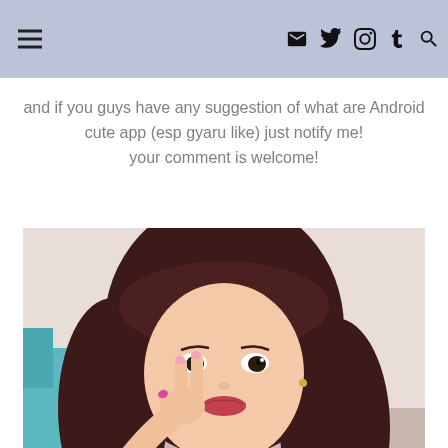Navigation bar with menu icon and social icons: email, twitter, instagram, tumblr, search
and if you guys have any suggestion of what are Android cute app (esp gyaru like) just notify me!
your comment is welcome!
[Figure (photo): Young Asian woman with long dark reddish-brown hair, wearing a white polka dot top, making a peace sign with her hand and pouting lips, indoor setting]